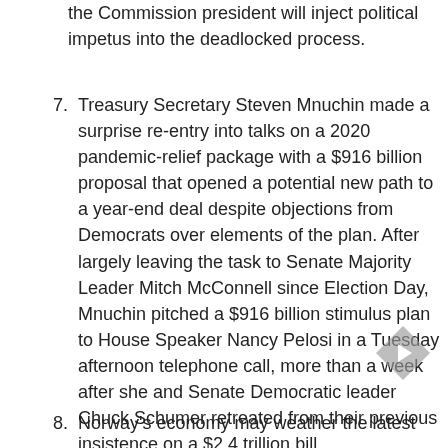the Commission president will inject political impetus into the deadlocked process.
Treasury Secretary Steven Mnuchin made a surprise re-entry into talks on a 2020 pandemic-relief package with a $916 billion proposal that opened a potential new path to a year-end deal despite objections from Democrats over elements of the plan. After largely leaving the task to Senate Majority Leader Mitch McConnell since Election Day, Mnuchin pitched a $916 billion stimulus plan to House Speaker Nancy Pelosi in a Tuesday afternoon telephone call, more than a week after she and Senate Democratic leader Chuck Schumer retreated from their previous insistence on a $2.4 trillion bill.
Norway's economy may weather the latest